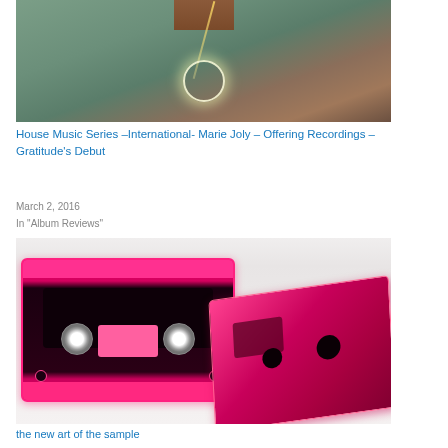[Figure (photo): Aerial or overhead photo showing person's legs/feet standing on wooden surface with glowing circle of light below, surrounded by green foliage]
House Music Series –International- Marie Joly – Offering Recordings – Gratitude's Debut
March 2, 2016
In "Album Reviews"
[Figure (photo): Two bright pink/hot pink translucent cassette tapes on a light surface, one standing upright showing full face, one lying at an angle showing side profile]
the new art of the sample